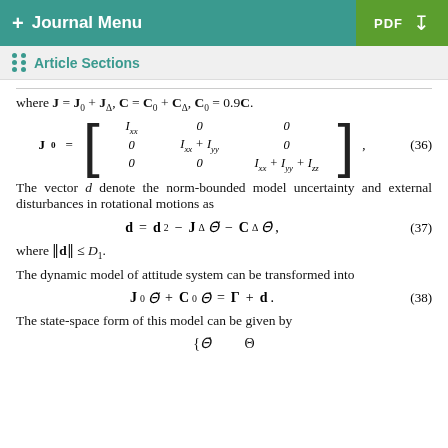+ Journal Menu | PDF
Article Sections
where J = J₀ + J_Δ, C = C₀ + C_Δ, C₀ = 0.9C.
The vector d denote the norm-bounded model uncertainty and external disturbances in rotational motions as
where ‖d‖ ≤ D₁.
The dynamic model of attitude system can be transformed into
The state-space form of this model can be given by